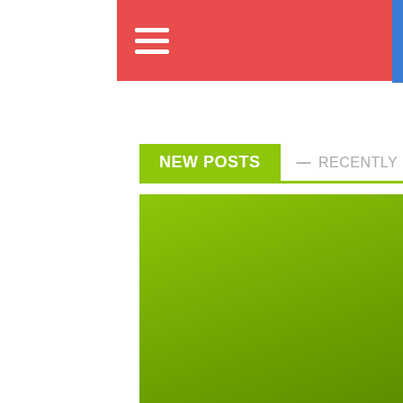Menu / Navigation header bar
NEW POSTS  —  RECENTLY PUBLISH POST
[Figure (photo): Green gradient featured image with date badge showing 18 August 2022]
3 DAYS AGO   NO COMMENT
Daza Siblings Say BBM Will Do What's Best For Philippines
Shares  [Facebook] [Twitter] [Google+] [Pinterest] [Email] [Crown/Viralogy]